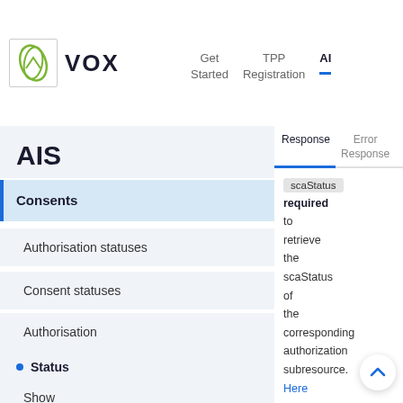VOX | Get Started | TPP Registration | AI
AIS
Consents
Authorisation statuses
Consent statuses
Authorisation
Status
Show
Response | Error Response
scaStatus required to retrieve the scaStatus of the corresponding authorization subresource. Here you can find